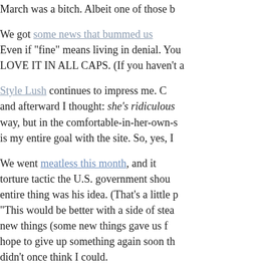March was a bitch. Albeit one of those b...
We got some news that bummed us... Even if "fine" means living in denial. You... LOVE IT IN ALL CAPS. (If you haven't a...
Style Lush continues to impress me. C... and afterward I thought: she's ridiculous... way, but in the comfortable-in-her-own-s... is my entire goal with the site. So, yes, I...
We went meatless this month, and it... torture tactic the U.S. government sho... entire thing was his idea. (That's a little p... "This would be better with a side of stea... new things (some new things gave us f... hope to give up something again soon th... didn't once think I could.
Like run a 5K. Man, that feat still make... you feel like you can conquer the world... through life.
Then there's Kyle. Oh, you guys. He's t... when you say, "make your monster sou... and he is becoming obsessed with boo...